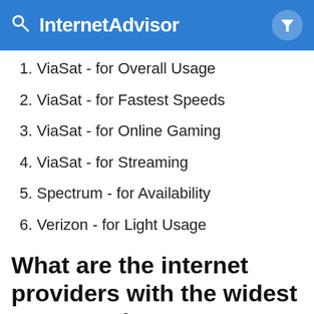InternetAdvisor
1. ViaSat - for Overall Usage
2. ViaSat - for Fastest Speeds
3. ViaSat - for Online Gaming
4. ViaSat - for Streaming
5. Spectrum - for Availability
6. Verizon - for Light Usage
What are the internet providers with the widest coverage in Lee, MA?
1. Spectrum - 100.00%
2. HughesNet - 100.00%